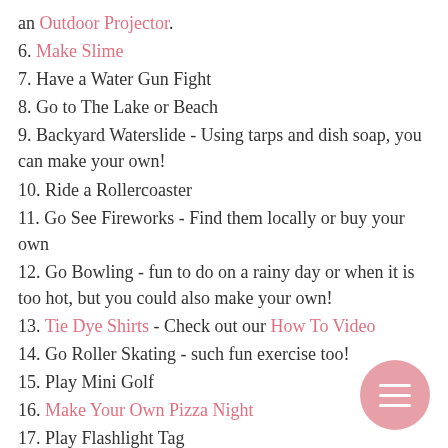an Outdoor Projector.
6. Make Slime
7. Have a Water Gun Fight
8. Go to The Lake or Beach
9. Backyard Waterslide - Using tarps and dish soap, you can make your own!
10. Ride a Rollercoaster
11. Go See Fireworks - Find them locally or buy your own
12. Go Bowling - fun to do on a rainy day or when it is too hot, but you could also make your own!
13. Tie Dye Shirts - Check out our How To Video
14. Go Roller Skating - such fun exercise too!
15. Play Mini Golf
16. Make Your Own Pizza Night
17. Play Flashlight Tag
18. Host Family Game Night
19. Send the Kids to Summer Camp